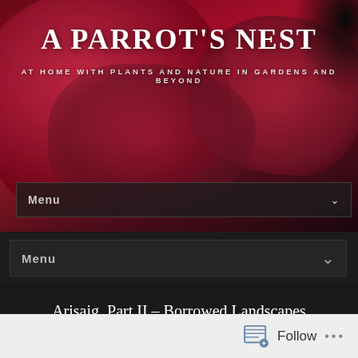[Figure (photo): Dark red/crimson floral background photo showing large flower petals, used as hero banner image]
A PARROT'S NEST
AT HOME WITH PLANTS AND NATURE IN GARDENS AND BEYOND
Menu
Menu
Arisaig, Part II – Borrowed Landscapes
by HARRIETRYCROFT · MAY 11, 2016 · (7)
Follow ...